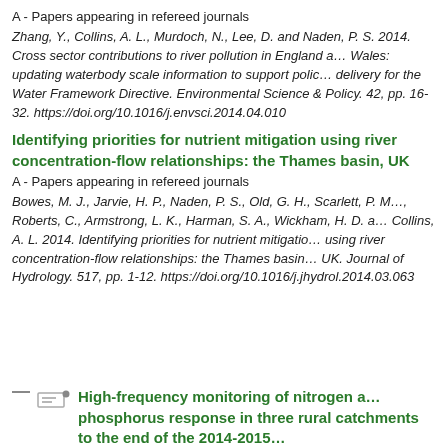A - Papers appearing in refereed journals
Zhang, Y., Collins, A. L., Murdoch, N., Lee, D. and Naden, P. S. 2014. Cross sector contributions to river pollution in England and Wales: updating waterbody scale information to support policy delivery for the Water Framework Directive. Environmental Science & Policy. 42, pp. 16-32. https://doi.org/10.1016/j.envsci.2014.04.010
Identifying priorities for nutrient mitigation using river concentration-flow relationships: the Thames basin, UK
A - Papers appearing in refereed journals
Bowes, M. J., Jarvie, H. P., Naden, P. S., Old, G. H., Scarlett, P. M., Roberts, C., Armstrong, L. K., Harman, S. A., Wickham, H. D. and Collins, A. L. 2014. Identifying priorities for nutrient mitigation using river concentration-flow relationships: the Thames basin, UK. Journal of Hydrology. 517, pp. 1-12. https://doi.org/10.1016/j.jhydrol.2014.03.063
High-frequency monitoring of nitrogen and phosphorus response in three rural catchments to the end of the 2014-2015...